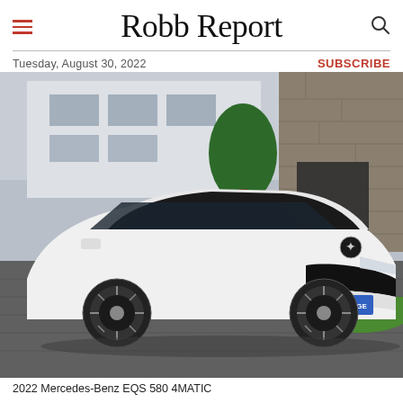Robb Report
Tuesday, August 30, 2022
SUBSCRIBE
[Figure (photo): A white 2022 Mercedes-Benz EQS 580 4MATIC electric sedan parked in front of a modern building with stone and white stucco facade, with a green tree in the background. License plate reads S-EQ 50GE.]
2022 Mercedes-Benz EQS 580 4MATIC